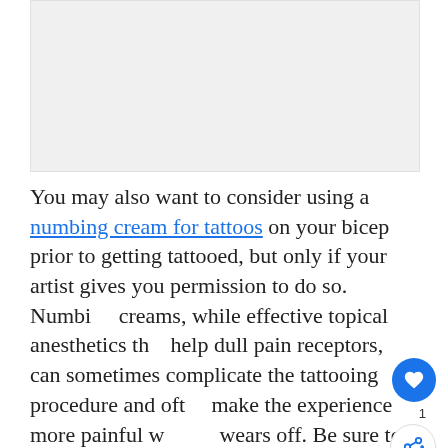[Figure (photo): Placeholder image area, light gray background]
You may also want to consider using a numbing cream for tattoos on your bicep prior to getting tattooed, but only if your artist gives you permission to do so. Numbing creams, while effective topical anesthetics that help dull pain receptors, can sometimes complicate the tattooing procedure and often make the experience more painful when it wears off. Be sure to discuss your intent to use a numbing cream with your artist beforehand.